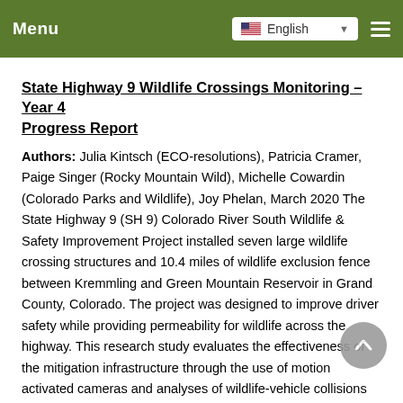Menu | English
State Highway 9 Wildlife Crossings Monitoring – Year 4 Progress Report
Authors: Julia Kintsch (ECO-resolutions), Patricia Cramer, Paige Singer (Rocky Mountain Wild), Michelle Cowardin (Colorado Parks and Wildlife), Joy Phelan, March 2020 The State Highway 9 (SH 9) Colorado River South Wildlife & Safety Improvement Project installed seven large wildlife crossing structures and 10.4 miles of wildlife exclusion fence between Kremmling and Green Mountain Reservoir in Grand County, Colorado. The project was designed to improve driver safety while providing permeability for wildlife across the highway. This research study evaluates the effectiveness of the mitigation infrastructure through the use of motion activated cameras and analyses of wildlife-vehicle collisions (WVC) carcass and accident data.